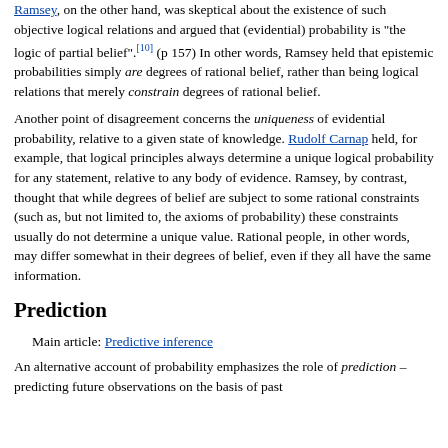Ramsey, on the other hand, was skeptical about the existence of such objective logical relations and argued that (evidential) probability is "the logic of partial belief".[10] (p 157) In other words, Ramsey held that epistemic probabilities simply are degrees of rational belief, rather than being logical relations that merely constrain degrees of rational belief.
Another point of disagreement concerns the uniqueness of evidential probability, relative to a given state of knowledge. Rudolf Carnap held, for example, that logical principles always determine a unique logical probability for any statement, relative to any body of evidence. Ramsey, by contrast, thought that while degrees of belief are subject to some rational constraints (such as, but not limited to, the axioms of probability) these constraints usually do not determine a unique value. Rational people, in other words, may differ somewhat in their degrees of belief, even if they all have the same information.
Prediction
Main article: Predictive inference
An alternative account of probability emphasizes the role of prediction – predicting future observations on the basis of past